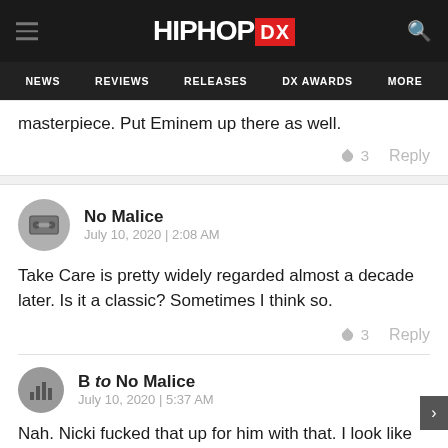HipHopDX
NEWS   REVIEWS   RELEASES   DX AWARDS   MORE
masterpiece. Put Eminem up there as well.
🔥 3   Reply
No Malice
July 10, 2020 | 2:08 AM
Take Care is pretty widely regarded almost a decade later. Is it a classic? Sometimes I think so.
🔥 3   Reply
B to No Malice
July 10, 2020 | 5:37 AM
Nah. Nicki fucked that up for him with that. I look like yes